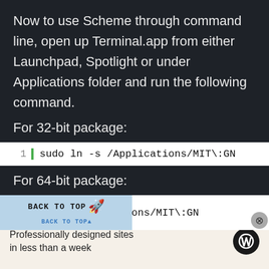Now to use Scheme through command line, open up Terminal.app from either Launchpad, Spotlight or under Applications folder and run the following command.
For 32-bit package:
1   sudo ln -s /Applications/MIT\:GN
For 64-bit package:
[Figure (screenshot): Partially overlaid code block showing 'n -s /Applications/MIT\:GN' with a 'BACK TO TOP' button overlay and a close (X) button]
Advertisements
Professionally designed sites in less than a week